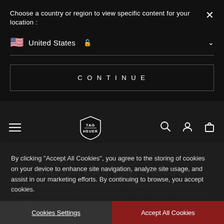Choose a country or region to view specific content for your location :
United States 🔒
CONTINUE
[Figure (logo): TAG Heuer shield logo in navigation bar]
SIGNATURE FINISHINGS
By clicking "Accept All Cookies", you agree to the storing of cookies on your device to enhance site navigation, analyze site usage, and assist in our marketing efforts. By continuing to browse, you accept cookies.
The watch's bespoke movement integrates a unique hand-finished oscillating weight, emulating the TAG Heuer shield. Paying tribute to the colors of Connected 2021, the color are designed with a seamless orange to yellow gradient, hand-painted by master dial paint and some painted dial lacquer...
Cookies Settings
Accept All Cookies